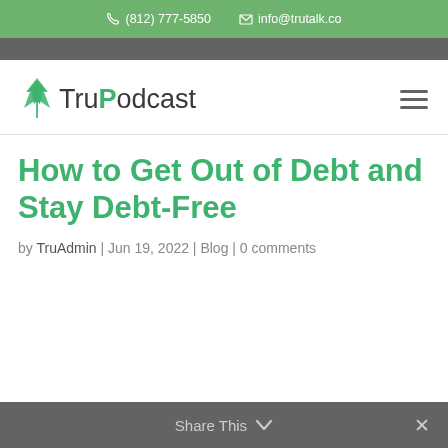☎ (812) 777-5850   ✉ info@trutalk.co
[Figure (logo): TruPodcast logo with green leaf icon and hamburger menu icon on right]
How to Get Out of Debt and Stay Debt-Free
by TruAdmin | Jun 19, 2022 | Blog | 0 comments
Share This ∨  ✕